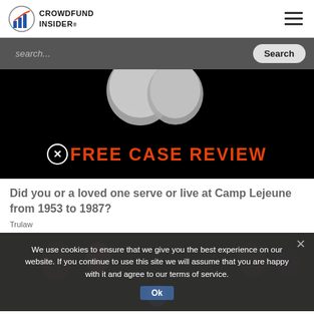CROWDFUND INSIDER
[Figure (screenshot): Search bar on dark gray background with 'search...' placeholder text and 'Search' button]
[Figure (photo): Advertisement banner on black background showing metallic coins at top and 'FREE CASE REVIEW' text in orange-red with circled X icon]
Did you or a loved one serve or live at Camp Lejeune from 1953 to 1987?
Trulaw
We use cookies to ensure that we give you the best experience on our website. If you continue to use this site we will assume that you are happy with it and agree to our terms of service.